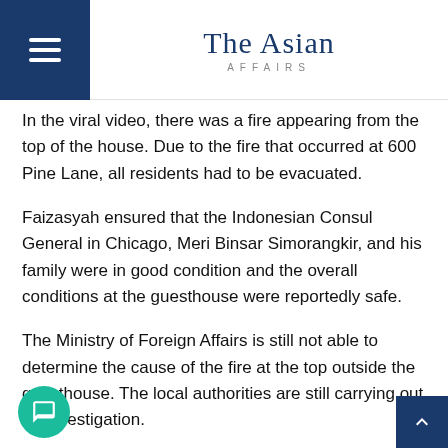The Asian Affairs
In the viral video, there was a fire appearing from the top of the house. Due to the fire that occurred at 600 Pine Lane, all residents had to be evacuated.
Faizasyah ensured that the Indonesian Consul General in Chicago, Meri Binsar Simorangkir, and his family were in good condition and the overall conditions at the guesthouse were reportedly safe.
The Ministry of Foreign Affairs is still not able to determine the cause of the fire at the top outside the guesthouse. The local authorities are still carrying out an investigation.
Wketka Fire Chief Alan Berkowsky said there were dozens of people in the house who needed to be evacuated.